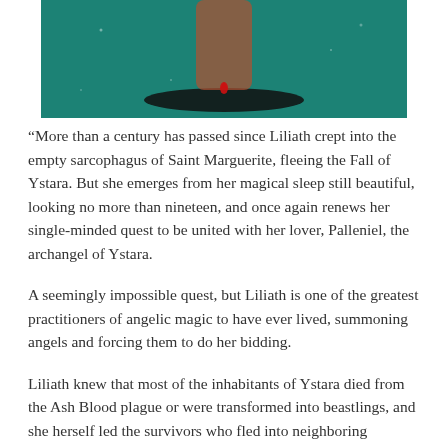[Figure (photo): Partial book cover image showing a teal/dark green background with what appears to be a figure and a dark oval shadow, with a red droplet visible.]
“More than a century has passed since Liliath crept into the empty sarcophagus of Saint Marguerite, fleeing the Fall of Ystara. But she emerges from her magical sleep still beautiful, looking no more than nineteen, and once again renews her single-minded quest to be united with her lover, Palleniel, the archangel of Ystara.
A seemingly impossible quest, but Liliath is one of the greatest practitioners of angelic magic to have ever lived, summoning angels and forcing them to do her bidding.
Liliath knew that most of the inhabitants of Ystara died from the Ash Blood plague or were transformed into beastlings, and she herself led the survivors who fled into neighboring Sarance. Now she learns that angels shun the Ystaran’s